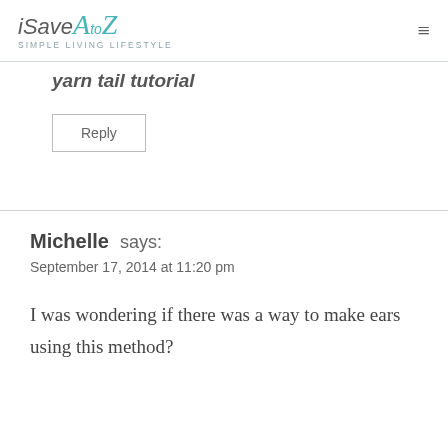iSaveAtoZ - SIMPLE LIVING LIFESTYLE
yarn tail tutorial
Reply
Michelle says:
September 17, 2014 at 11:20 pm
I was wondering if there was a way to make ears using this method?